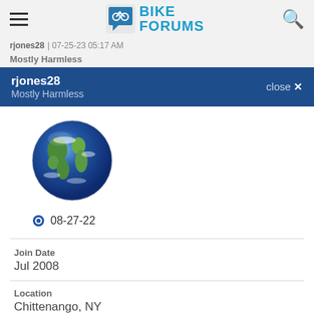BIKE FORUMS
rjones28 | ... Mostly Harmless
rjones28 Mostly Harmless close X
[Figure (illustration): Globe/Earth avatar image, circular profile picture]
08-27-22
Join Date
Jul 2008
Location
Chittenango, NY
Posts:
53,420